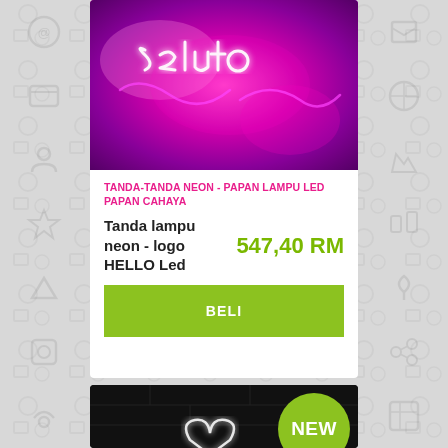[Figure (photo): Neon sign photo showing pink/magenta neon light script on a shiny pink/purple fabric background]
TANDA-TANDA NEON - PAPAN LAMPU LED PAPAN CAHAYA
Tanda lampu neon - logo HELLO Led
547,40 RM
BELI
[Figure (photo): Neon heart sign on dark background, with a green drip-style 'NEW' badge overlay in top right corner]